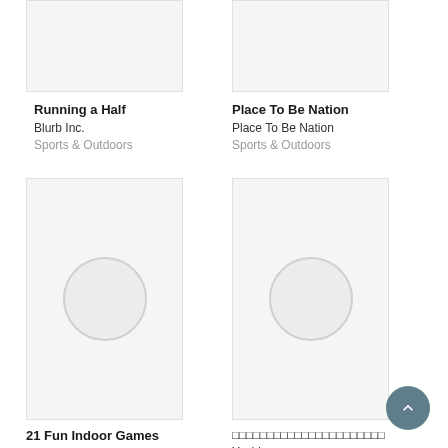[Figure (other): Book cover thumbnail (partially cropped) for Running a Half]
[Figure (other): Book cover thumbnail (partially cropped) for Place To Be Nation]
Running a Half
Blurb Inc.
Sports & Outdoors
Place To Be Nation
Place To Be Nation
Sports & Outdoors
[Figure (other): Book cover placeholder with circle for 21 Fun Indoor Games]
[Figure (other): Book cover placeholder with circle for Japanese title book by Yoshimasa]
21 Fun Indoor Games
Camelia Gherib
□□□□□□□□□□□□□□□□□□□□□□
Yoshimasa